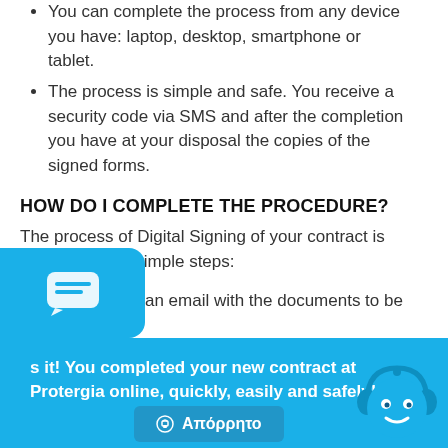You can complete the process from any device you have: laptop, desktop, smartphone or tablet.
The process is simple and safe. You receive a security code via SMS and after the completion you have at your disposal the copies of the signed forms.
HOW DO I COMPLETE THE PROCEDURE?
The process of Digital Signing of your contract is completed in 3 simple steps:
You receive an email with the documents to be signed.
You fill in the fields with the relevant marking.
You confirm your identity and sign digitally.
That's it! You completed your new contract at Protergia online, quickly, easily and safely!
[Figure (illustration): Blue chat bubble icon on blue rounded rectangle]
[Figure (illustration): Blue robot/bot icon with headphones]
Απόρρητο